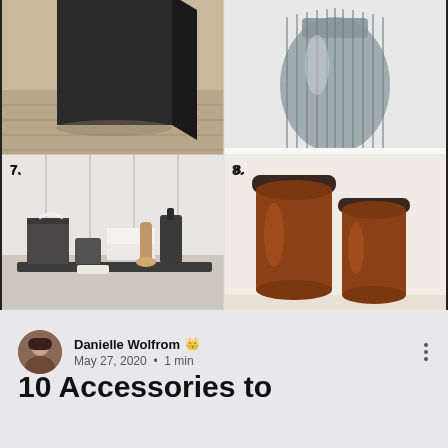[Figure (photo): Collage of home accessories product photos numbered 7-10. Top row (partial, cut off): item 5 black box/wastebasket on wood floor, item 6 gray ribbed glass vase. Middle row: item 7 dark marble bathroom accessories set with tissue box, soap dispenser, brush, on marble tray; item 8 two amber/brown glass apothecary jars with dark lids. Bottom row: item 9 dark wood slatted bath mat/tray, item 10 framed abstract line art print on shelf.]
Danielle Wolfrom 👑
May 27, 2020 · 1 min
10 Accessories to